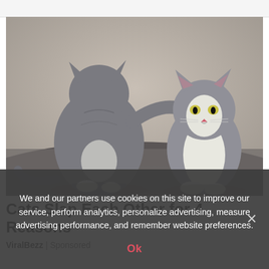[Figure (photo): Two gray cats facing each other; one cat (viewed from behind) has raised its paw and appears to be slapping or touching the face of the second cat, which is facing forward. Both cats are gray and white, photographed on a dark floor against a light neutral background.]
Cats Slap Each Other for 4 Reasons
ViralBezz | Sponsored
We and our partners use cookies on this site to improve our service, perform analytics, personalize advertising, measure advertising performance, and remember website preferences.
Ok